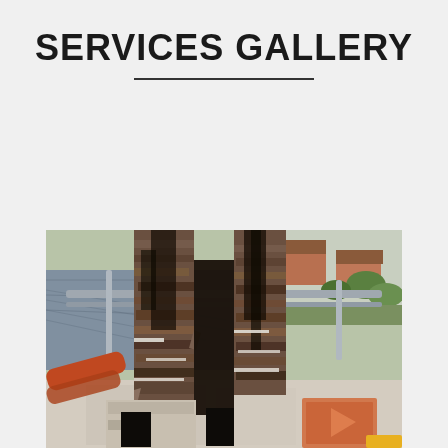SERVICES GALLERY
[Figure (photo): Close-up photo taken from above on scaffolding showing two severely deteriorated chimney stacks with damaged mortar and crumbling brickwork. Scaffolding safety rails visible in background. Residential rooftops and street visible in distance. An orange/red safety marker visible in lower right corner.]